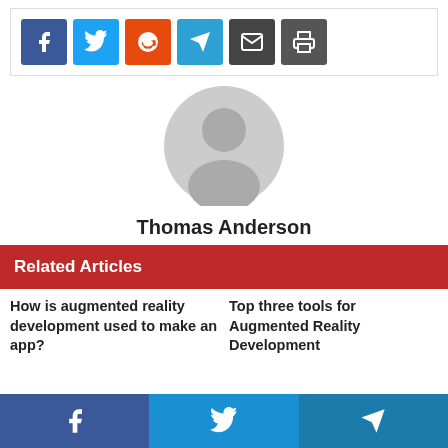[Figure (infographic): Social share buttons row: Facebook (blue), Twitter (light blue), Reddit (orange-red), Telegram (blue), Email (dark gray), Print (dark gray)]
[Figure (photo): Generic user avatar illustration: gray circle with silhouette of a person (head and shoulders)]
Thomas Anderson
Related Articles
How is augmented reality development used to make an app?
Top three tools for Augmented Reality Development
[Figure (infographic): Bottom sticky share bar: Facebook (blue), Twitter (medium blue), Telegram (dark blue)]